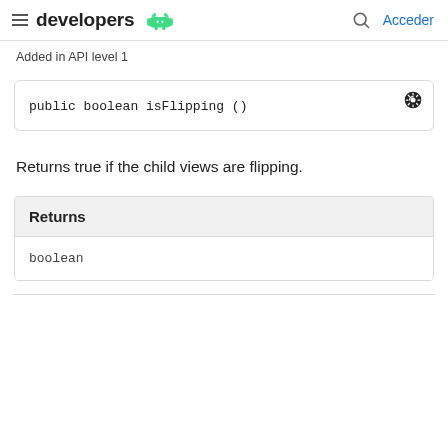developers | Acceder
Added in API level 1
Returns true if the child views are flipping.
| Returns |
| --- |
| boolean |